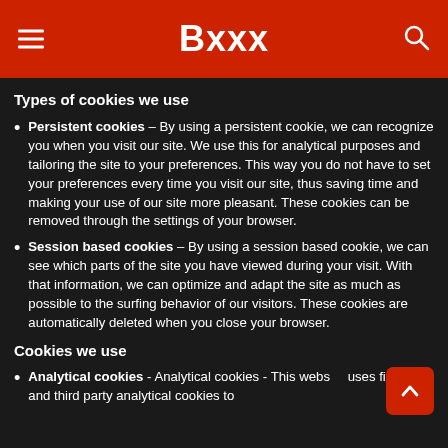Bxxx
Types of cookies we use
Persistent cookies – By using a persistent cookie, we can recognize you when you visit our site. We use this for analytical purposes and tailoring the site to your preferences. This way you do not have to set your preferences every time you visit our site, thus saving time and making your use of our site more pleasant. These cookies can be removed through the settings of your browser.
Session based cookies – By using a session based cookie, we can see which parts of the site you have viewed during your visit. With that information, we can optimize and adapt the site as much as possible to the surfing behavior of our visitors. These cookies are automatically deleted when you close your browser.
Cookies we use
Analytical cookies - Analytical cookies - This website uses first party and third party analytical cookies to